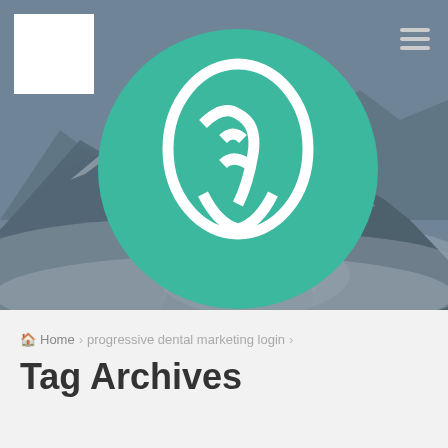[Figure (photo): Aerial view of snow-covered mountain peaks emerging from clouds, in muted blue-grey tones. Header image for a dental marketing website.]
[Figure (logo): White dental/head silhouette icon on teal/green oval background, inside a white square box, top-left of header.]
Home > progressive dental marketing login >
Tag Archives